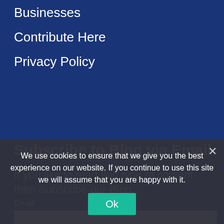Businesses
Contribute Here
Privacy Policy
Subscribe to Blog via Email
If you like to read this type of content then Subscribe our Blog...
Email
Subscribe
We use cookies to ensure that we give you the best experience on our website. If you continue to use this site we will assume that you are happy with it.
Ok